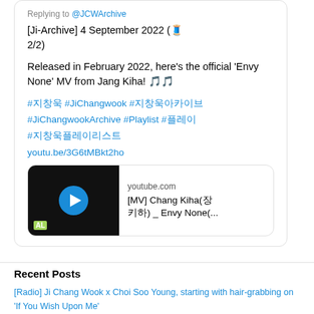Replying to @JCWArchive
[Ji-Archive] 4 September 2022 (🧵 2/2)
Released in February 2022, here's the official 'Envy None' MV from Jang Kiha! 🎵🎵
#지창욱 #JiChangwook #지창욱아카이브 #JiChangwookArchive #Playlist #플레이 #지창욱플레이리스트
youtu.be/3G6tMBkt2ho
[Figure (screenshot): YouTube video card showing a thumbnail of a man in dark jacket on black background with a blue play button, labeled youtube.com with title [MV] Chang Kiha(장 키하) _ Envy None(...]
Recent Posts
[Radio] Ji Chang Wook x Choi Soo Young, starting with hair-grabbing on 'If You Wish Upon Me'